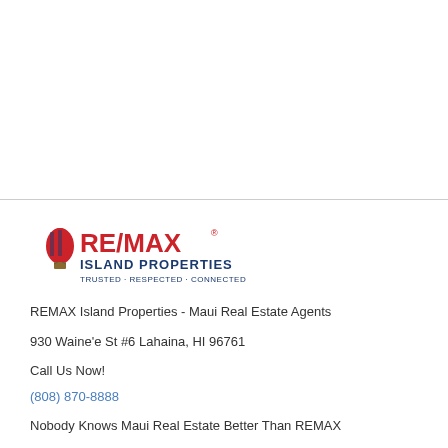[Figure (logo): RE/MAX Island Properties logo with hot air balloon icon, red and blue text, tagline Trusted Respected Connected]
REMAX Island Properties - Maui Real Estate Agents
930 Waine'e St #6 Lahaina, HI 96761
Call Us Now!
(808) 870-8888
Nobody Knows Maui Real Estate Better Than REMAX